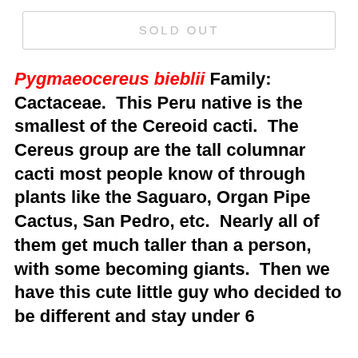SOLD OUT
Pygmaeocereus bieblii Family: Cactaceae.  This Peru native is the smallest of the Cereoid cacti.  The Cereus group are the tall columnar cacti most people know of through plants like the Saguaro, Organ Pipe Cactus, San Pedro, etc.  Nearly all of them get much taller than a person, with some becoming giants.  Then we have this cute little guy who decided to be different and stay under 6